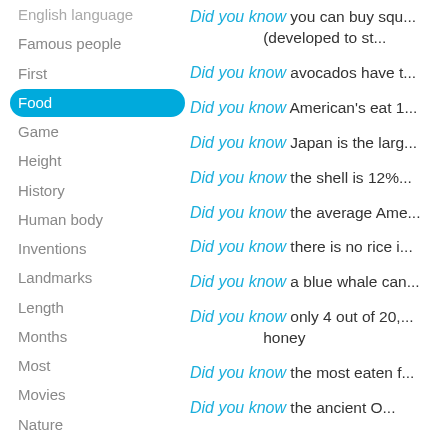English language
Famous people
First
Food
Game
Height
History
Human body
Inventions
Landmarks
Length
Months
Most
Movies
Nature
Numbers
Only
Places
Products
Quantifiable
Size
Sound
Did you know you can buy squ... (developed to st...
Did you know avocados have t...
Did you know American's eat 1...
Did you know Japan is the larg...
Did you know the shell is 12%...
Did you know the average Ame...
Did you know there is no rice i...
Did you know a blue whale can...
Did you know only 4 out of 20,... honey
Did you know the most eaten f...
Did you know the ancient O...